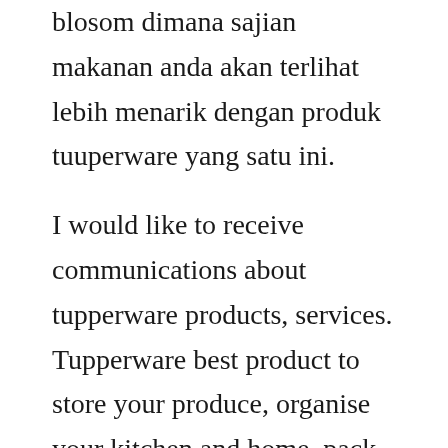blosom dimana sajian makanan anda akan terlihat lebih menarik dengan produk tuuperware yang satu ini.
I would like to receive communications about tupperware products, services. Tupperware best product to store your produce, organise your kitchen and home, pack your lunch, simplify your cooking, cook healthy food, serve tasty meals. The term tupperware is often used generically to refer to plastic or glass food storage containers with snap close lids. Company or tupperware, which has its